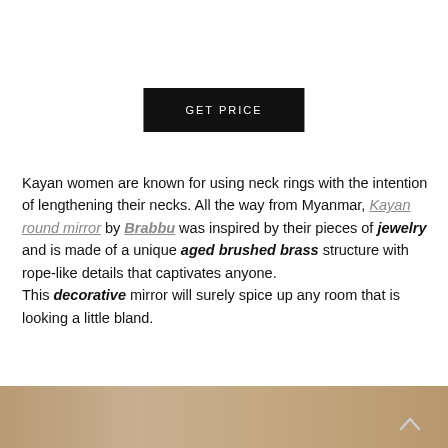GET PRICE
Kayan women are known for using neck rings with the intention of lengthening their necks. All the way from Myanmar, Kayan round mirror by Brabbu was inspired by their pieces of jewelry and is made of a unique aged brushed brass structure with rope-like details that captivates anyone.
This decorative mirror will surely spice up any room that is looking a little bland.
[Figure (photo): Bottom strip showing a decorative mirror with aged brushed brass tones, warm beige/brown colors, with an upward arrow in the bottom right corner]